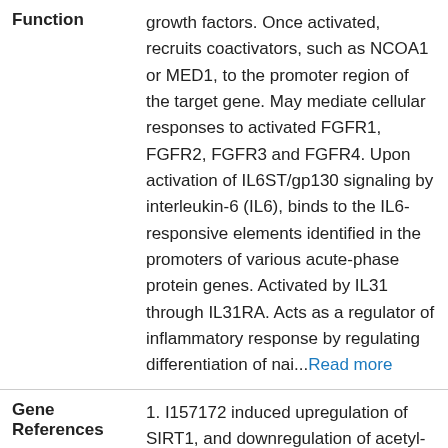growth factors. Once activated, recruits coactivators, such as NCOA1 or MED1, to the promoter region of the target gene. May mediate cellular responses to activated FGFR1, FGFR2, FGFR3 and FGFR4. Upon activation of IL6ST/gp130 signaling by interleukin-6 (IL6), binds to the IL6-responsive elements identified in the promoters of various acute-phase protein genes. Activated by IL31 through IL31RA. Acts as a regulator of inflammatory response by regulating differentiation of nai...Read more
Function
Gene References
1. I157172 induced upregulation of SIRT1, and downregulation of acetyl-STAT3. PMID: 30365149
2. an HBV-pSTAT3-SALL4-miR-200c axis regulates PD-L1 causing T cell exhaustion PMID: 29593314